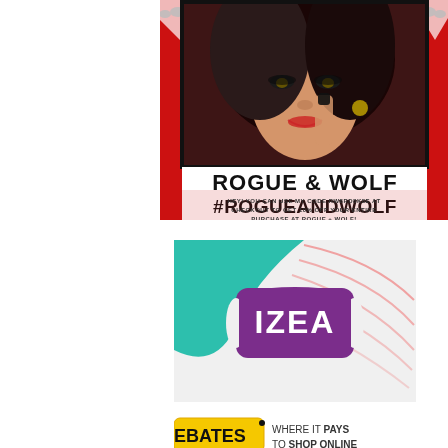[Figure (illustration): Rogue & Wolf advertisement showing a woman with gothic makeup, dark nails, Halloween bat decorations, red and black design with text 'ROGUE & WOLF #ROGUEANDWOLF' and a discount code message]
[Figure (logo): IZEA logo on a teal and light grey background with curved pink lines design]
[Figure (logo): Ebates logo with text 'WHERE IT PAYS TO SHOP ONLINE']